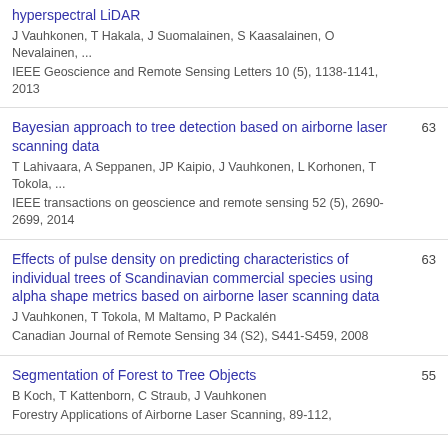hyperspectral LiDAR | J Vauhkonen, T Hakala, J Suomalainen, S Kaasalainen, O Nevalainen, ... | IEEE Geoscience and Remote Sensing Letters 10 (5), 1138-1141, 2013
Bayesian approach to tree detection based on airborne laser scanning data | T Lahivaara, A Seppanen, JP Kaipio, J Vauhkonen, L Korhonen, T Tokola, ... | IEEE transactions on geoscience and remote sensing 52 (5), 2690-2699, 2014 | 63
Effects of pulse density on predicting characteristics of individual trees of Scandinavian commercial species using alpha shape metrics based on airborne laser scanning data | J Vauhkonen, T Tokola, M Maltamo, P Packalén | Canadian Journal of Remote Sensing 34 (S2), S441-S459, 2008 | 63
Segmentation of Forest to Tree Objects | B Koch, T Kattenborn, C Straub, J Vauhkonen | Forestry Applications of Airborne Laser Scanning, 89-112, | 55